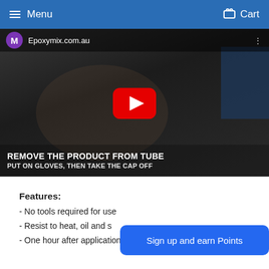Menu  Cart
[Figure (screenshot): YouTube video thumbnail showing a person holding an epoxy tube with channel name Epoxymix.com.au. Text overlay reads: REMOVE THE PRODUCT FROM TUBE / PUT ON GLOVES, THEN TAKE THE CAP OFF]
Features:
- No tools required for use
- Resist to heat, oil and s[olvents]
- One hour after application can be drilled, sawed, sanded, filed,
[Figure (other): Blue rounded button overlay reading 'Sign up and earn Points']